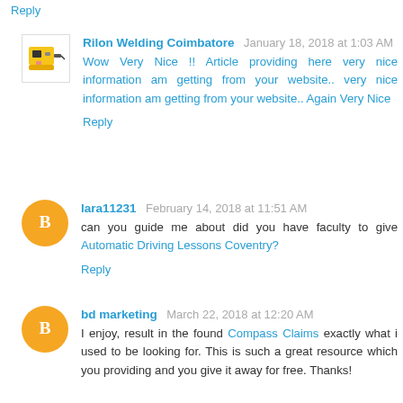Reply
Rilon Welding Coimbatore  January 18, 2018 at 1:03 AM
Wow Very Nice !! Article providing here very nice information am getting from your website.. very nice information am getting from your website.. Again Very Nice
Reply
lara11231  February 14, 2018 at 11:51 AM
can you guide me about did you have faculty to give Automatic Driving Lessons Coventry?
Reply
bd marketing  March 22, 2018 at 12:20 AM
I enjoy, result in the found Compass Claims exactly what i used to be looking for. This is such a great resource which you providing and you give it away for free. Thanks!